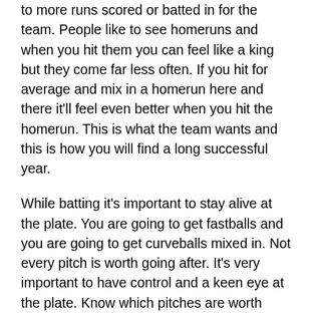to more runs scored or batted in for the team. People like to see homeruns and when you hit them you can feel like a king but they come far less often. If you hit for average and mix in a homerun here and there it'll feel even better when you hit the homerun. This is what the team wants and this is how you will find a long successful year.
While batting it's important to stay alive at the plate. You are going to get fastballs and you are going to get curveballs mixed in. Not every pitch is worth going after. It's very important to have control and a keen eye at the plate. Know which pitches are worth swinging at. You will have to foul off some pitches that are close but you know they aren't yours. If you keep yourself alive your pitch will come and this is where you connect and drive through the ball. It's very important to follow through!
Run everything out because you never know. You just miss and catch one off the end of the bat and now it's dribbling